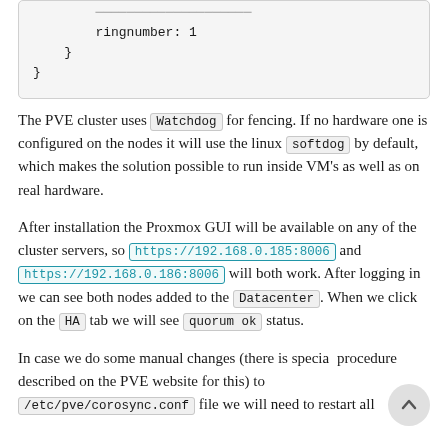ringnumber: 1
    }
}
The PVE cluster uses Watchdog for fencing. If no hardware one is configured on the nodes it will use the linux softdog by default, which makes the solution possible to run inside VM's as well as on real hardware.
After installation the Proxmox GUI will be available on any of the cluster servers, so https://192.168.0.185:8006 and https://192.168.0.186:8006 will both work. After logging in we can see both nodes added to the Datacenter. When we click on the HA tab we will see quorum ok status.
In case we do some manual changes (there is special procedure described on the PVE website for this) to /etc/pve/corosync.conf file we will need to restart all